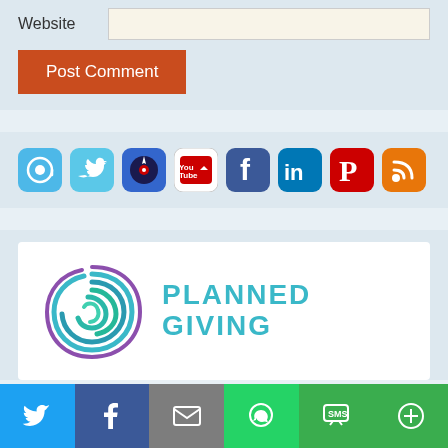Website
Post Comment
[Figure (logo): Row of social media icons: email, Twitter, iTunes/music, YouTube, Facebook, LinkedIn, Pinterest, RSS feed]
[Figure (logo): Planned Giving logo with teal spiral and text PLANNED GIVING]
[Figure (infographic): Bottom share bar with Twitter, Facebook, Email, WhatsApp, SMS, and More buttons]